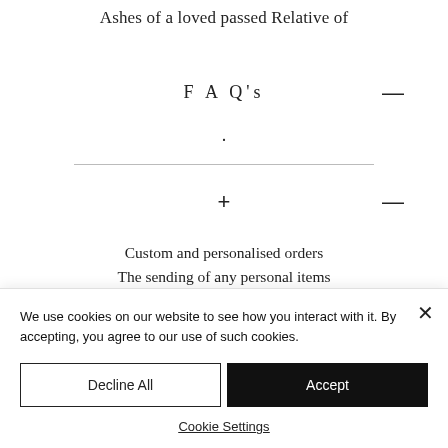Ashes of a loved passed Relative of
F A Q's
.
+
Custom and personalised orders
The sending of any personal items
(such as ashes for cremation
We use cookies on our website to see how you interact with it. By accepting, you agree to our use of such cookies.
Decline All
Accept
Cookie Settings